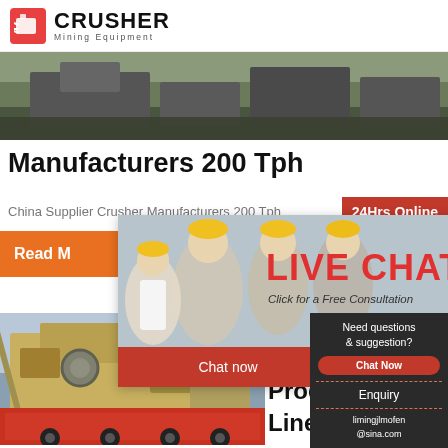CRUSHER Mining Equipment
[Figure (photo): Aerial/wide shot of heavy mining machinery on a worksite, dark tones, landscape orientation]
Manufacturers 200 Tph
China Supplier Crusher Manufacturers 200 Tph
[Figure (infographic): Live Chat popup overlay with construction workers wearing yellow hard hats, LIVE CHAT heading in red, 'Click for a Free Consultation' subtext, Chat now and Chat later buttons, 24Hrs Online badge, female customer service agent with headset on right side]
[Figure (photo): Yellow/beige heavy crusher machine mounted on a red truck/trailer at a worksite]
100 Tph Tph St Produ Line J Crus
[Figure (infographic): Dark sidebar panel with 'Need questions & suggestion?', Chat Now button in red, Enquiry link, and liming jlmofen@sina.com email address]